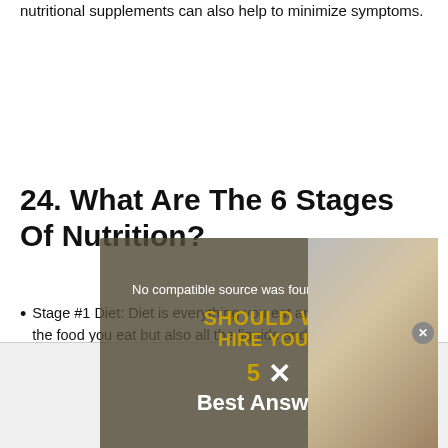nutritional supplements can also help to minimize symptoms.
24. What Are The 6 Stages Of Nutrition?
Stage #1 Diet: Diet is everything you eat and drink, not just the food you eat but also all the liquids and supplements as well.
[Figure (screenshot): Video player overlay showing 'No compatible source was found for this media.' message with a decorative background text 'SHOULD WE HIRE YOU?' and '5 Best Answers' text, with a close button and a photo of a person on the right side.]